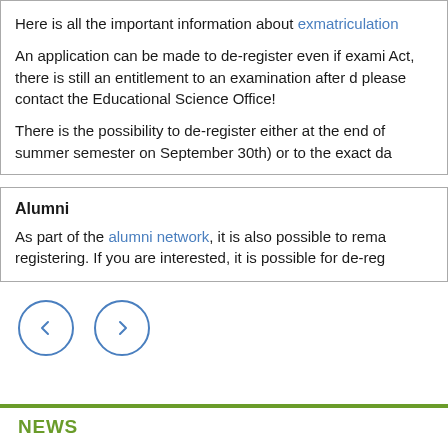Here is all the important information about exmatriculation

An application can be made to de-register even if exami Act, there is still an entitlement to an examination after d please contact the Educational Science Office!

There is the possibility to de-register either at the end of summer semester on September 30th) or to the exact da
Alumni
As part of the alumni network, it is also possible to rema registering. If you are interested, it is possible for de-reg
[Figure (other): Navigation buttons: left arrow (back) and right arrow (forward), circular outlined buttons in blue]
NEWS